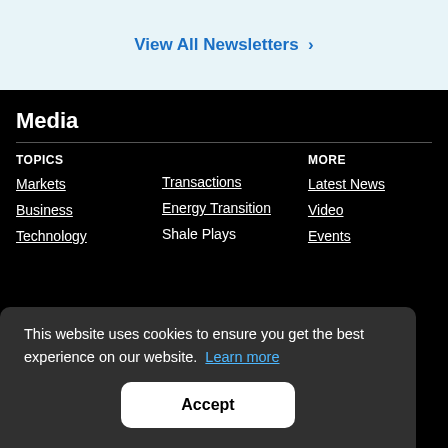View All Newsletters >
Media
TOPICS
Markets
Transactions
MORE
Latest News
Business
Energy Transition
Video
Technology
Shale Plays
Events
This website uses cookies to ensure you get the best experience on our website. Learn more
Accept